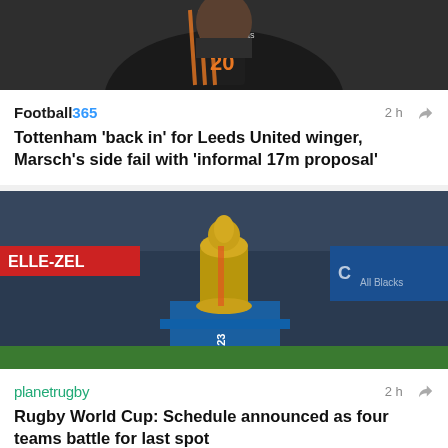[Figure (photo): Soccer player wearing jersey number 20 with orange stripes on a dark background]
Football365  2h
Tottenham 'back in' for Leeds United winger, Marsch's side fail with 'informal 17m proposal'
[Figure (photo): Rugby World Cup trophy on a blue pedestal with stadium crowd in background, banner reading ELLE-ZEL visible]
planetrugby  2h
Rugby World Cup: Schedule announced as four teams battle for last spot
[Figure (photo): Close-up of a soccer player's face with dark hair against a blue background]